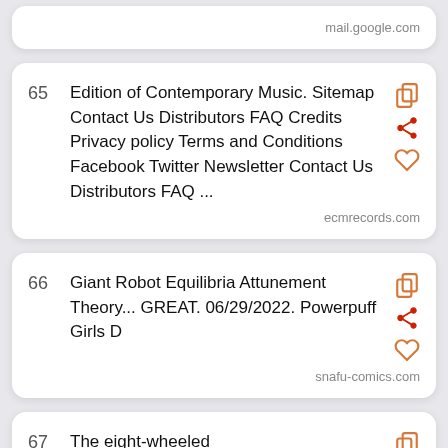mail.google.com
65  Edition of Contemporary Music. Sitemap Contact Us Distributors FAQ Credits Privacy policy Terms and Conditions Facebook Twitter Newsletter Contact Us Distributors FAQ ...  ecmrecords.com
66  Giant Robot Equilibria Attunement Theory... GREAT. 06/29/2022. Powerpuff Girls D  snafu-comics.com
67  The eight-wheeled <strong>CM</strong>-34 is armed with the Mk44